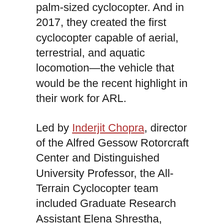palm-sized cyclocopter. And in 2017, they created the first cyclocopter capable of aerial, terrestrial, and aquatic locomotion—the vehicle that would be the recent highlight in their work for ARL.
Led by Inderjit Chopra, director of the Alfred Gessow Rotorcraft Center and Distinguished University Professor, the All-Terrain Cyclocopter team included Graduate Research Assistant Elena Shrestha, Undergraduate Research Assistants Brian Davis and Benjamin Williams, and mentors Vikram Hrishikeshavan, assistant research scientist, and Derrick Yeo, assistant clinical professor.
Moble Benedict was another key person working on the cyclocopter concept. Now an assistant professor at Texas A&M, Benedict is noted by the